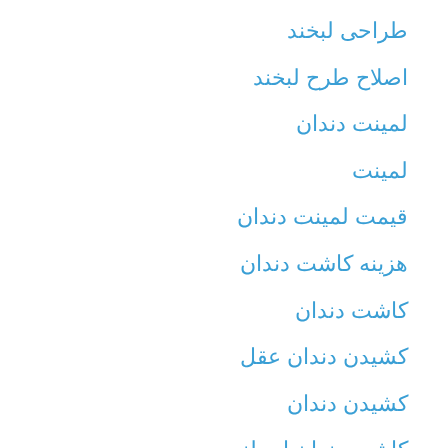طراحی لبخند
اصلاح طرح لبخند
لمینت دندان
لمینت
قیمت لمینت دندان
هزینه کاشت دندان
کاشت دندان
کشیدن دندان عقل
کشیدن دندان
کاشت دندان ایمپلنت
سایت دندانپزشکی